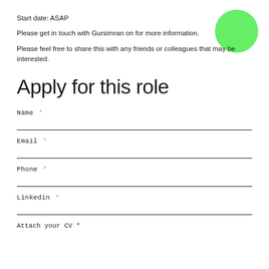Start date: ASAP
[Figure (illustration): Green circle decoration in top right corner]
Please get in touch with Gursimran on for more information.
Please feel free to share this with any friends or colleagues that may be interested.
Apply for this role
Name *
Email *
Phone *
Linkedin *
Attach your CV *